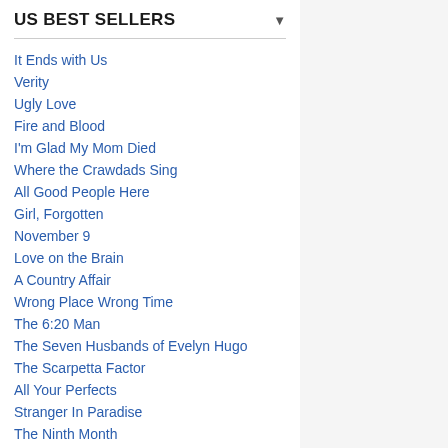US BEST SELLERS
It Ends with Us
Verity
Ugly Love
Fire and Blood
I'm Glad My Mom Died
Where the Crawdads Sing
All Good People Here
Girl, Forgotten
November 9
Love on the Brain
A Country Affair
Wrong Place Wrong Time
The 6:20 Man
The Seven Husbands of Evelyn Hugo
The Scarpetta Factor
All Your Perfects
Stranger In Paradise
The Ninth Month